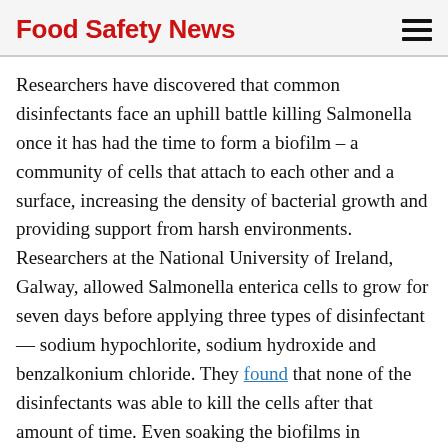Food Safety News
Researchers have discovered that common disinfectants face an uphill battle killing Salmonella once it has had the time to form a biofilm – a community of cells that attach to each other and a surface, increasing the density of bacterial growth and providing support from harsh environments. Researchers at the National University of Ireland, Galway, allowed Salmonella enterica cells to grow for seven days before applying three types of disinfectant — sodium hypochlorite, sodium hydroxide and benzalkonium chloride. They found that none of the disinfectants was able to kill the cells after that amount of time. Even soaking the biofilms in disinfectant for an hour and a half failed to kill them